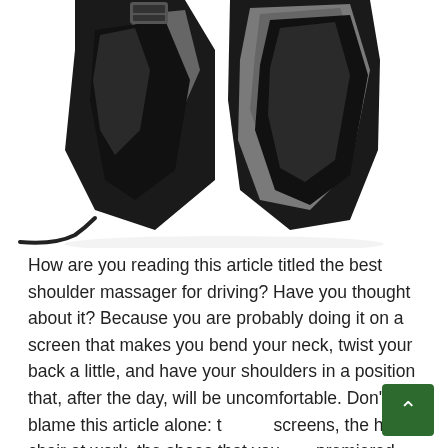[Figure (photo): A black and grey shiatsu neck and shoulder massager product photo shown from the front, open/spread apart with the two halves visible, and a power cord coming from the left side. White background.]
How are you reading this article titled the best shoulder massager for driving? Have you thought about it? Because you are probably doing it on a screen that makes you bend your neck, twist your back a little, and have your shoulders in a position that, after the day, will be uncomfortable. Don't blame this article alone: the screens, the hard chair at work, the shoes that you premiered over the weekend, the constant back and